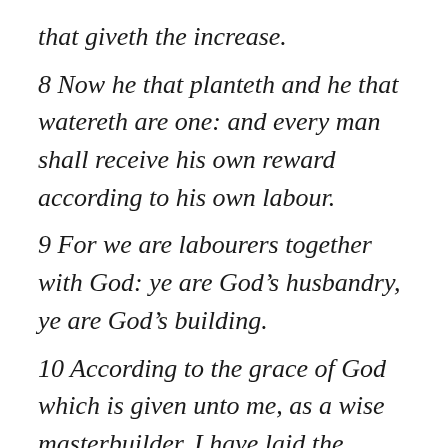that giveth the increase.
8 Now he that planteth and he that watereth are one: and every man shall receive his own reward according to his own labour.
9 For we are labourers together with God: ye are God’s husbandry, ye are God’s building.
10 According to the grace of God which is given unto me, as a wise masterbuilder, I have laid the foundation, and another buildeth thereon. But let every man take